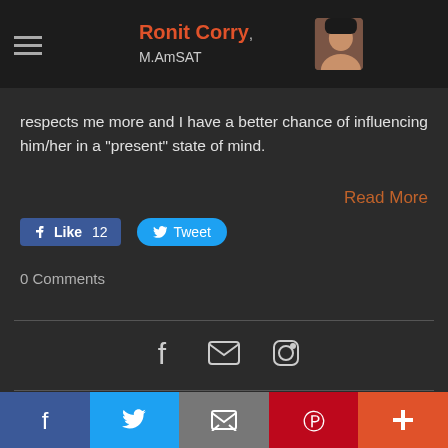Ronit Corry, M.AmSAT
respects me more and I have a better chance of influencing him/her in a "present" state of mind.
Read More
Like 12   Tweet
0 Comments
[Figure (infographic): Social media icons: Facebook, Email, Instagram]
Ronit Corry
Social share bar: Facebook, Twitter, Email, Pinterest, More